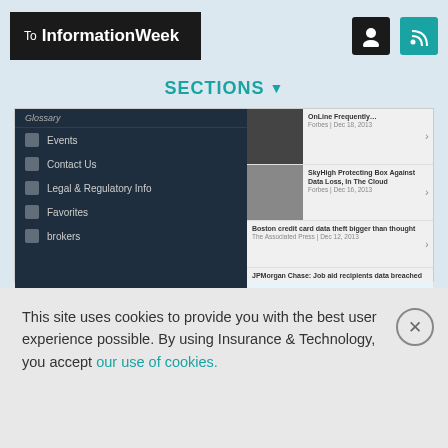To InformationWeek
SECTIONS
[Figure (screenshot): Mobile app screenshot showing navigation menu items (Glossary, Events, Contact Us, Legal & Regulatory Info, Favorites, Brokers) on dark background on left, and news articles with thumbnails on right including headlines about data loss, credit card theft, and JPMorgan Chase data breach]
Mobile Strategy: 8 Cool Insurance Apps
Cyber-Security In Insurance: 7 Things To Know
7 Tech Skills for Insurance Pros
MORE SLIDESHOWS
This site uses cookies to provide you with the best user experience possible. By using Insurance & Technology, you accept our use of cookies.